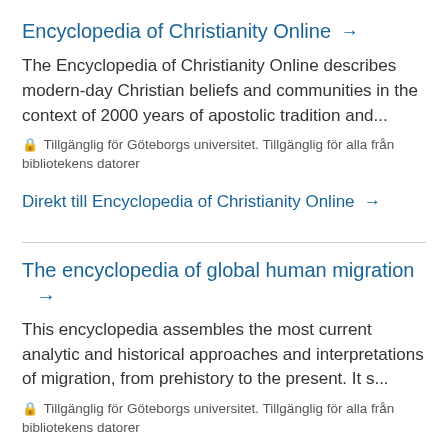Encyclopedia of Christianity Online →
The Encyclopedia of Christianity Online describes modern-day Christian beliefs and communities in the context of 2000 years of apostolic tradition and...
🔒 Tillgänglig för Göteborgs universitet. Tillgänglig för alla från bibliotekens datorer
Direkt till Encyclopedia of Christianity Online →
The encyclopedia of global human migration →
This encyclopedia assembles the most current analytic and historical approaches and interpretations of migration, from prehistory to the present. It s...
🔒 Tillgänglig för Göteborgs universitet. Tillgänglig för alla från bibliotekens datorer